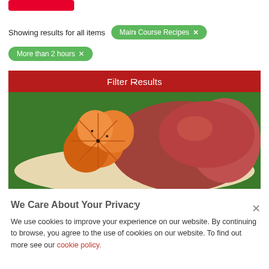[Figure (other): Red button at top of page]
Showing results for all items
Main Course Recipes ✕
More than 2 hours ✕
Filter Results
[Figure (photo): Photo of a glazed ham with orange slices on a serving dish, green background]
We Care About Your Privacy
We use cookies to improve your experience on our website. By continuing to browse, you agree to the use of cookies on our website. To find out more see our cookie policy.